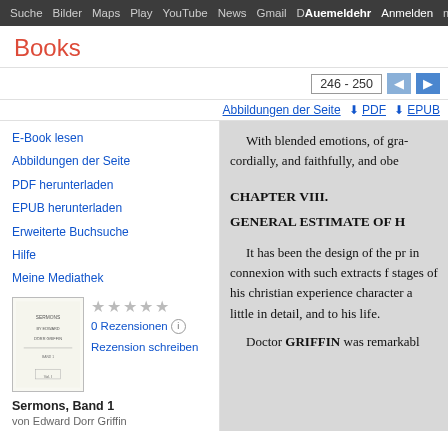Suche Bilder Maps Play YouTube News Gmail DAuemeldehr Anmelden mehr
Books
246 - 250
Abbildungen der Seite PDF EPUB
E-Book lesen
Abbildungen der Seite
PDF herunterladen
EPUB herunterladen
Erweiterte Buchsuche
Hilfe
Meine Mediathek
0 Rezensionen
Rezension schreiben
Sermons, Band 1
von Edward Dorr Griffin
With blended emotions, of gra cordially, and faithfully, and obe
CHAPTER VIII.
GENERAL ESTIMATE OF H
It has been the design of the pr in connexion with such extracts f stages of his christian experience character a little in detail, and to his life.
Doctor GRIFFIN was remarkabl